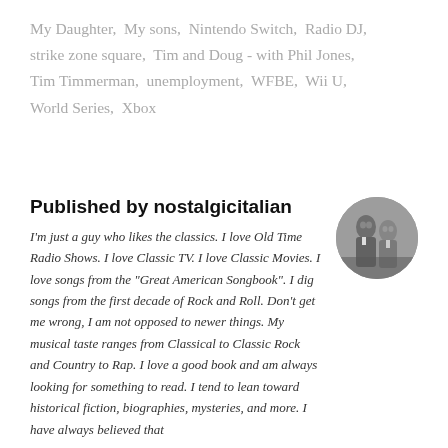My Daughter, My sons, Nintendo Switch, Radio DJ, strike zone square, Tim and Doug - with Phil Jones, Tim Timmerman, unemployment, WFBE, Wii U, World Series, Xbox
Published by nostalgicitalian
[Figure (photo): Circular black and white photo of two men, likely classic era entertainers, in formal attire]
I'm just a guy who likes the classics. I love Old Time Radio Shows. I love Classic TV. I love Classic Movies. I love songs from the "Great American Songbook". I dig songs from the first decade of Rock and Roll. Don't get me wrong, I am not opposed to newer things. My musical taste ranges from Classical to Classic Rock and Country to Rap. I love a good book and am always looking for something to read. I tend to lean toward historical fiction, biographies, mysteries, and more. I have always believed that